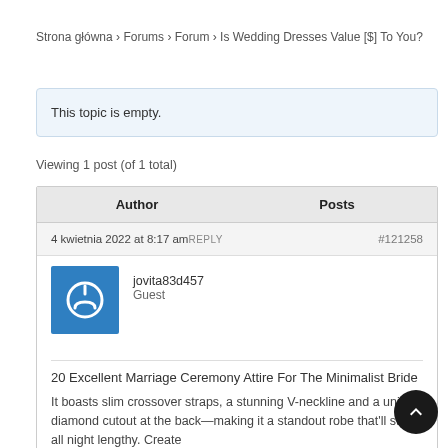Strona główna › Forums › Forum › Is Wedding Dresses Value [$] To You?
This topic is empty.
Viewing 1 post (of 1 total)
| Author | Posts |
| --- | --- |
| 4 kwietnia 2022 at 8:17 amREPLY | #121258 |
| jovita83d457
Guest |  |
20 Excellent Marriage Ceremony Attire For The Minimalist Bride
It boasts slim crossover straps, a stunning V-neckline and a unique diamond cutout at the back—making it a standout robe that'll stun all night lengthy. Create